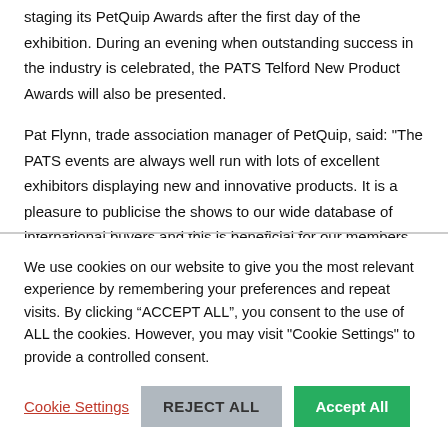staging its PetQuip Awards after the first day of the exhibition. During an evening when outstanding success in the industry is celebrated, the PATS Telford New Product Awards will also be presented.
Pat Flynn, trade association manager of PetQuip, said: "The PATS events are always well run with lots of excellent exhibitors displaying new and innovative products. It is a pleasure to publicise the shows to our wide database of international buyers and this is beneficial for our members who exhibit, too. The PetQuip Awards are also an ideal fit alongside an innovations show such as PATS Telford."
We use cookies on our website to give you the most relevant experience by remembering your preferences and repeat visits. By clicking “ACCEPT ALL”, you consent to the use of ALL the cookies. However, you may visit "Cookie Settings" to provide a controlled consent.
Cookie Settings
REJECT ALL
Accept All